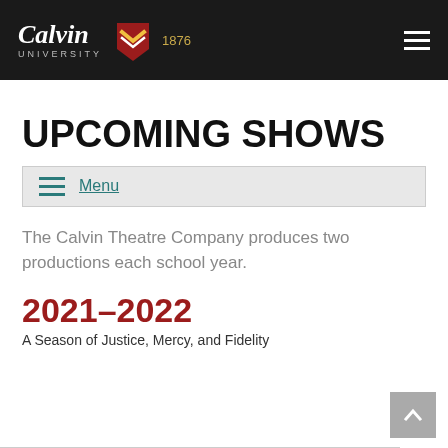Calvin University 1876
UPCOMING SHOWS
Menu
The Calvin Theatre Company produces two productions each school year.
2021–2022
A Season of Justice, Mercy, and Fidelity